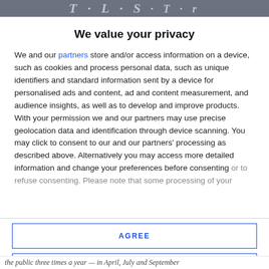The Star
We value your privacy
We and our partners store and/or access information on a device, such as cookies and process personal data, such as unique identifiers and standard information sent by a device for personalised ads and content, ad and content measurement, and audience insights, as well as to develop and improve products. With your permission we and our partners may use precise geolocation data and identification through device scanning. You may click to consent to our and our partners' processing as described above. Alternatively you may access more detailed information and change your preferences before consenting or to refuse consenting. Please note that some processing of your
AGREE
MORE OPTIONS
the public three times a year — in April, July and September